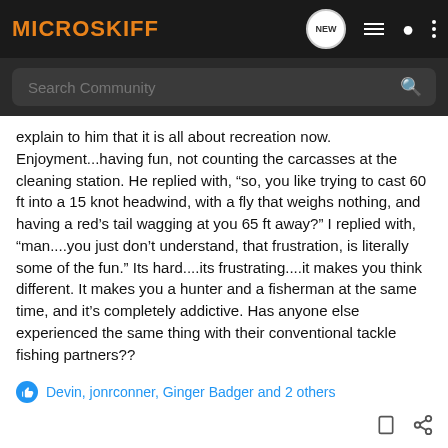MICROSKIFF
explain to him that it is all about recreation now. Enjoyment...having fun, not counting the carcasses at the cleaning station. He replied with, “so, you like trying to cast 60 ft into a 15 knot headwind, with a fly that weighs nothing, and having a red’s tail wagging at you 65 ft away?” I replied with, “man....you just don’t understand, that frustration, is literally some of the fun.” Its hard....its frustrating....it makes you think different. It makes you a hunter and a fisherman at the same time, and it’s completely addictive. Has anyone else experienced the same thing with their conventional tackle fishing partners??
Devin, jonrconner, Ginger Badger and 2 others